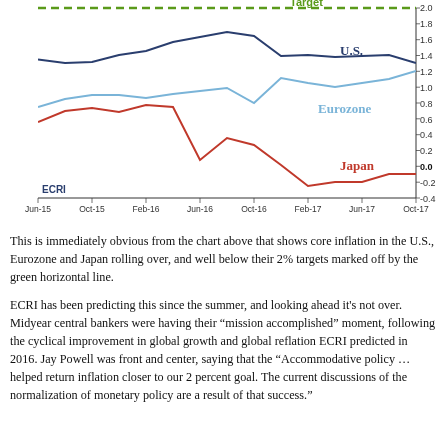[Figure (line-chart): Line chart showing core inflation for U.S., Eurozone, and Japan from Jun-15 to Oct-17, with a 2% target line.]
This is immediately obvious from the chart above that shows core inflation in the U.S., Eurozone and Japan rolling over, and well below their 2% targets marked off by the green horizontal line.
ECRI has been predicting this since the summer, and looking ahead it's not over. Midyear central bankers were having their “mission accomplished” moment, following the cyclical improvement in global growth and global reflation ECRI predicted in 2016. Jay Powell was front and center, saying that the “Accommodative policy … helped return inflation closer to our 2 percent goal. The current discussions of the normalization of monetary policy are a result of that success.”